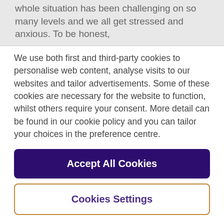whole situation has been challenging on so many levels and we all get stressed and anxious. To be honest,
We use both first and third-party cookies to personalise web content, analyse visits to our websites and tailor advertisements. Some of these cookies are necessary for the website to function, whilst others require your consent. More detail can be found in our cookie policy and you can tailor your choices in the preference centre.
Accept All Cookies
Cookies Settings